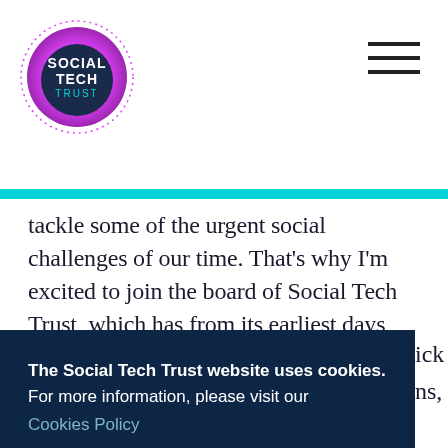Social Tech Trust
tackle some of the urgent social challenges of our time. That’s why I’m excited to join the board of Social Tech Trust, which has from its earliest days played a starring role in building the UK’s world-leading social tech ecosystem.”
The Social Tech Trust website uses cookies. For more information, please visit our Cookies Policy
Hide this message